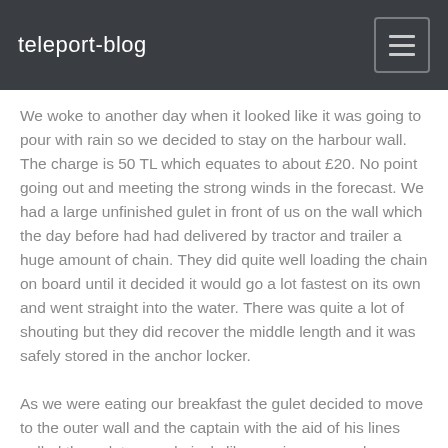teleport-blog
We woke to another day when it looked like it was going to pour with rain so we decided to stay on the harbour wall.  The charge is 50 TL which equates to about £20.  No point going out and meeting the strong winds in the forecast.  We had a large unfinished gulet in front of us on the wall which the day before had had delivered by tractor and trailer a huge amount of chain.  They did quite well loading the chain on board until it decided it would go a lot fastest on its own and went straight into the water.  There was quite a lot of shouting but they did recover the middle length and it was safely stored in the anchor locker.
As we were eating our breakfast the gulet decided to move to the outer wall and the captain with the aid of his lines pulled the gulet around nicely like on sixpence and appeared he was going to be able to reverse out but no one told the gulet how to reverse in a straight line.  The poor chap was steering